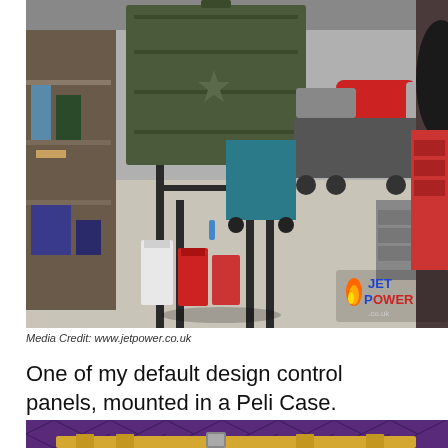[Figure (photo): Workshop/garage interior showing a large olive-green military-style container mounted on a tall metal stand. In the background is a jet engine on a wheeled cart with a red cylindrical component, various fuel cans (white, red), tool trolleys, shelving, and a JetPower.co.uk logo watermark in the lower right corner.]
Media Credit: www.jetpower.co.uk
One of my default design control panels, mounted in a Peli Case.
[Figure (photo): Partial view of a yellow/gold colored control panel or case with diamond-pattern purple/dark background surface visible above it.]